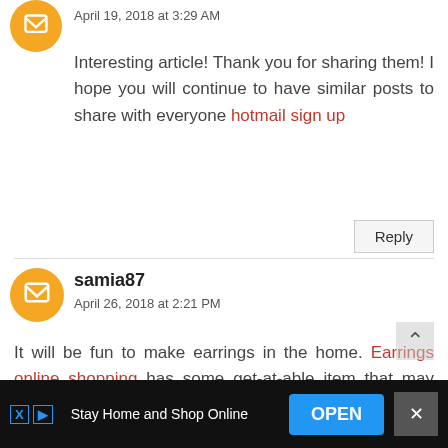April 19, 2018 at 3:29 AM
Interesting article! Thank you for sharing them! I hope you will continue to have similar posts to share with everyone hotmail sign up
Reply
samia87
April 26, 2018 at 2:21 PM
It will be fun to make earrings in the home. Earrings online shopping has some get-at-able item that may give a try at home. You can try some unique designs to order through online. Those are marvelous to look at.
Stay Home and Shop Online OPEN